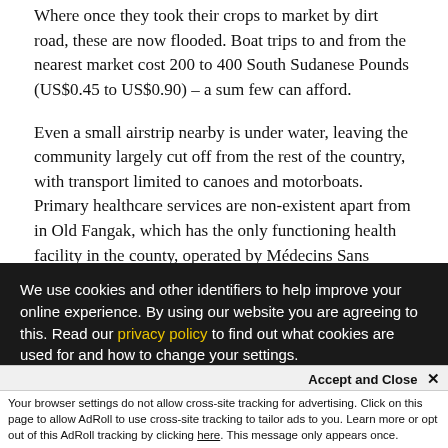Where once they took their crops to market by dirt road, these are now flooded. Boat trips to and from the nearest market cost 200 to 400 South Sudanese Pounds (US$0.45 to US$0.90) – a sum few can afford.
Even a small airstrip nearby is under water, leaving the community largely cut off from the rest of the country, with transport limited to canoes and motorboats. Primary healthcare services are non-existent apart from in Old Fangak, which has the only functioning health facility in the county, operated by Médecins Sans Frontières.
There is currently no food assistance for schoolchildren, and families have to pay for local canoes to ferry their
We use cookies and other identifiers to help improve your online experience. By using our website you are agreeing to this. Read our privacy policy to find out what cookies are used for and how to change your settings.
Accept and Close ✕
Your browser settings do not allow cross-site tracking for advertising. Click on this page to allow AdRoll to use cross-site tracking to tailor ads to you. Learn more or opt out of this AdRoll tracking by clicking here. This message only appears once.